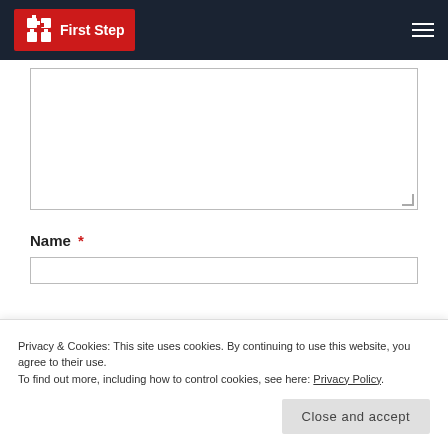First Step
[Figure (other): Textarea input field, empty, with resize handle]
Name *
[Figure (other): Name text input field, empty]
Privacy & Cookies: This site uses cookies. By continuing to use this website, you agree to their use.
To find out more, including how to control cookies, see here: Privacy Policy
Close and accept